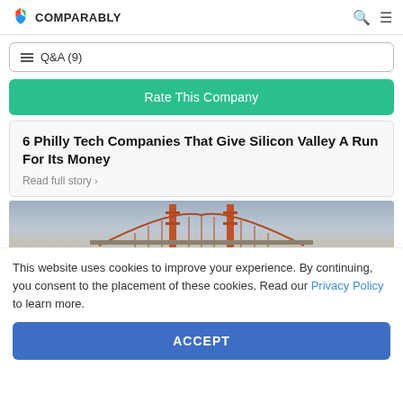COMPARABLY
Q&A (9)
Rate This Company
6 Philly Tech Companies That Give Silicon Valley A Run For Its Money
Read full story ›
[Figure (photo): Partial view of a bridge (appears to be Golden Gate Bridge) with fog/sky background]
This website uses cookies to improve your experience. By continuing, you consent to the placement of these cookies. Read our Privacy Policy to learn more.
ACCEPT